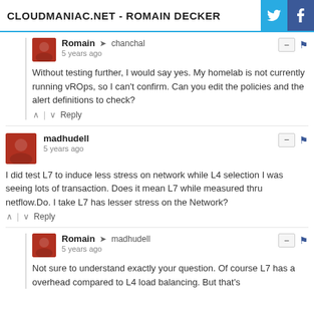CLOUDMANIAC.NET - ROMAIN DECKER
is that mean the vROps monitor L7 alluded by detail
Romain → chanchal
5 years ago
Without testing further, I would say yes. My homelab is not currently running vROps, so I can't confirm. Can you edit the policies and the alert definitions to check?
madhudell
5 years ago
I did test L7 to induce less stress on network while L4 selection I was seeing lots of transaction. Does it mean L7 while measured thru netflow.Do. I take L7 has lesser stress on the Network?
Romain → madhudell
5 years ago
Not sure to understand exactly your question. Of course L7 has a overhead compared to L4 load balancing. But that's